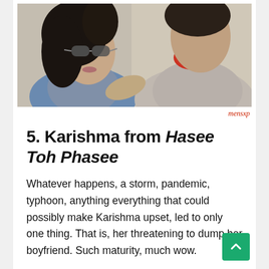[Figure (photo): Two people sitting together outdoors. A woman with dark hair and sunglasses wearing a denim jacket on the left, and a man in a grey and red shirt on the right.]
mensxp
5. Karishma from Hasee Toh Phasee
Whatever happens, a storm, pandemic, typhoon, anything everything that could possibly make Karishma upset, led to only one thing. That is, her threatening to dump her boyfriend. Such maturity, much wow.